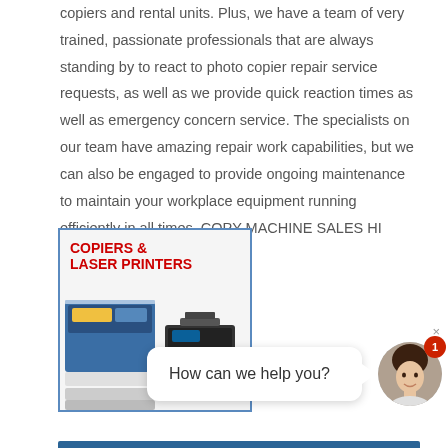copiers and rental units. Plus, we have a team of very trained, passionate professionals that are always standing by to react to photo copier repair service requests, as well as we provide quick reaction times as well as emergency concern service. The specialists on our team have amazing repair work capabilities, but we can also be engaged to provide ongoing maintenance to maintain your workplace equipment running efficiently in all times. COPY MACHINE SALES HI
[Figure (illustration): Advertisement image for Copiers & Laser Printers showing two office copier/printer machines — a large blue multifunction copier on the left and a smaller black laser printer on the right, with bold red text reading 'COPIERS & LASER PRINTERS' at the top.]
[Figure (screenshot): Live chat widget overlay showing a speech bubble with 'How can we help you?' text, a circular avatar photo of a smiling woman, a red notification badge with '1', and a close (×) button in the corner.]